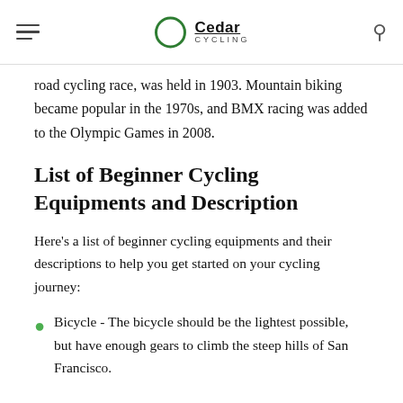Cedar Cycling
road cycling race, was held in 1903. Mountain biking became popular in the 1970s, and BMX racing was added to the Olympic Games in 2008.
List of Beginner Cycling Equipments and Description
Here's a list of beginner cycling equipments and their descriptions to help you get started on your cycling journey:
Bicycle - The bicycle should be the lightest possible, but have enough gears to climb the steep hills of San Francisco.